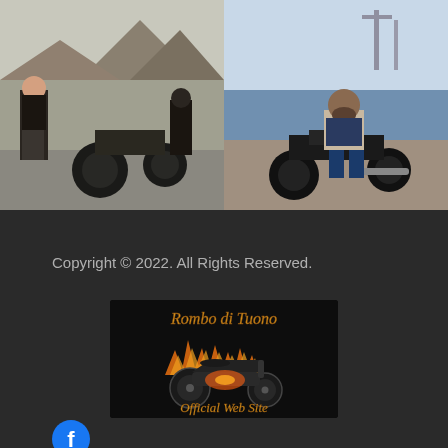[Figure (photo): Two bikers standing with motorcycles on a mountain road, one wearing a club vest with patches]
[Figure (photo): Bearded man in smart casual attire sitting on a classic black bobber motorcycle on a waterfront dock]
Copyright © 2022. All Rights Reserved.
[Figure (logo): Rombo di Tuono Official Web Site logo — stylized italic text above a flaming chopper motorcycle graphic on black background]
[Figure (logo): Facebook icon — blue circle with white 'f']